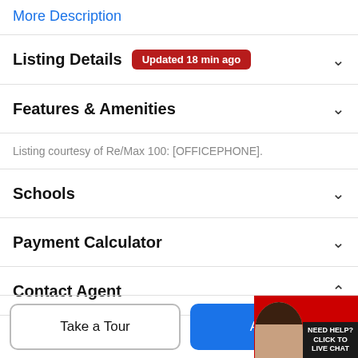More Description
Listing Details  Updated 18 min ago
Features & Amenities
Listing courtesy of Re/Max 100: [OFFICEPHONE].
Schools
Payment Calculator
Contact Agent
Take a Tour
Ask A Q
[Figure (other): Live chat widget with agent photo, red background, 'NEED HELP? CLICK TO LIVE CHAT' text]